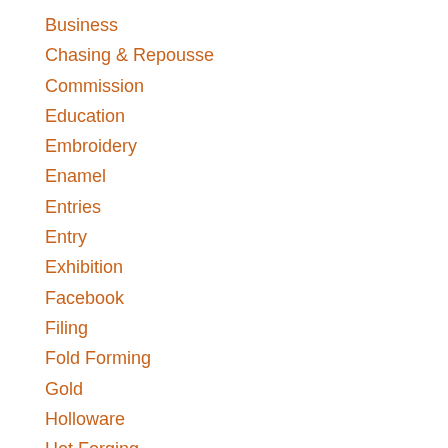Business
Chasing & Repousse
Commission
Education
Embroidery
Enamel
Entries
Entry
Exhibition
Facebook
Filing
Fold Forming
Gold
Holloware
Hot Forging
Hydraulic Press
Jewelry
Keum-boo
Learning
Leather